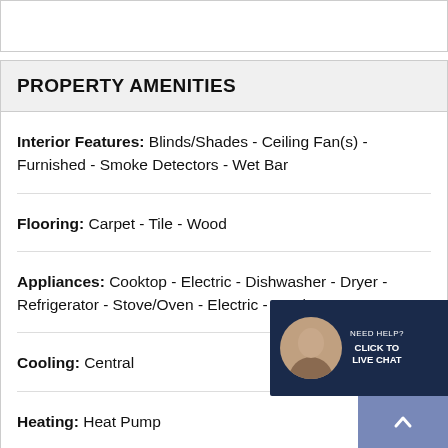PROPERTY AMENITIES
Interior Features:  Blinds/Shades  -  Ceiling Fan(s)  -  Furnished  -  Smoke Detectors  -  Wet Bar
Flooring:  Carpet  -  Tile  -  Wood
Appliances:  Cooktop - Electric  -  Dishwasher  -  Dryer  -  Refrigerator  -  Stove/Oven - Electric  -  Washer
Cooling:  Central
Heating:  Heat Pump
Fireplace:  0